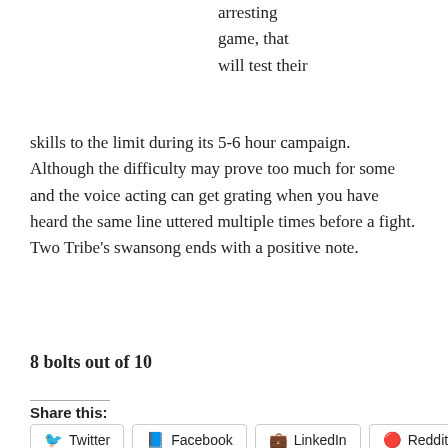arresting game, that will test their skills to the limit during its 5-6 hour campaign. Although the difficulty may prove too much for some and the voice acting can get grating when you have heard the same line uttered multiple times before a fight. Two Tribe's swansong ends with a positive note.
8 bolts out of 10
Share this:
Twitter Facebook LinkedIn Reddit WhatsApp Pinterest Tumblr
Related
Three things you hate about Destiny (are psychological
Rebel Galaxy Review (PC)
November 5, 2015